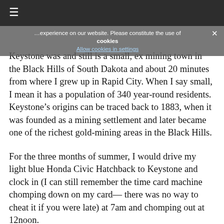≡
cookies
Keystone was and still is a small, ex mining town in the Black Hills of South Dakota and about 20 minutes from where I grew up in Rapid City. When I say small, I mean it has a population of 340 year-round residents. Keystone's origins can be traced back to 1883, when it was founded as a mining settlement and later became one of the richest gold-mining areas in the Black Hills.
For the three months of summer, I would drive my light blue Honda Civic Hatchback to Keystone and clock in (I can still remember the time card machine chomping down on my card— there was no way to cheat it if you were late) at 7am and chomping out at 12noon.
Even though I was just cleaning hotel rooms at the not so glamorous Rushmore Express, and getting up at the crack of dawn, I felt liberated.  At the ripe old age of 14 years old (yes it is legal in some states